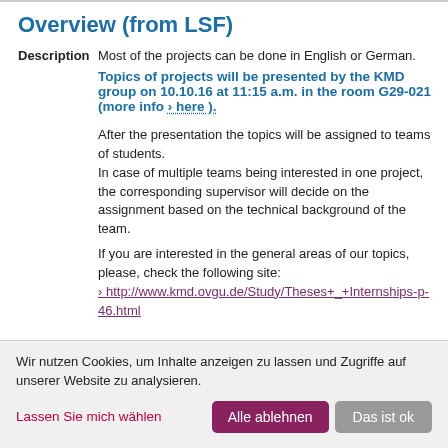Overview (from LSF)
Description Most of the projects can be done in English or German.
Topics of projects will be presented by the KMD group on 10.10.16 at 11:15 a.m. in the room G29-021 (more info › here ).
After the presentation the topics will be assigned to teams of students.
In case of multiple teams being interested in one project, the corresponding supervisor will decide on the assignment based on the technical background of the team.
If you are interested in the general areas of our topics, please, check the following site:
› http://www.kmd.ovgu.de/Study/Theses+_+Internships-p-46.html
Wir nutzen Cookies, um Inhalte anzeigen zu lassen und Zugriffe auf unserer Website zu analysieren.
Lassen Sie mich wählen
Alle ablehnen
Das ist ok